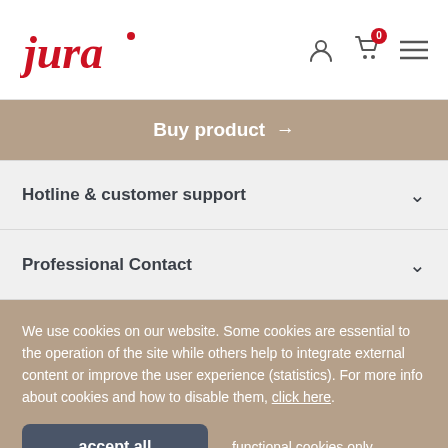Jura logo with user, cart, and menu icons
Buy product →
Hotline & customer support
Professional Contact
We use cookies on our website. Some cookies are essential to the operation of the site while others help to integrate external content or improve the user experience (statistics). For more info about cookies and how to disable them, click here.
accept all
functional cookies only